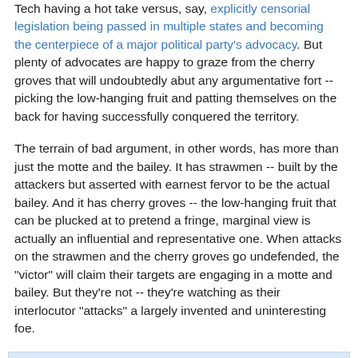Tech having a hot take versus, say, explicitly censorial legislation being passed in multiple states and becoming the centerpiece of a major political party's advocacy. But plenty of advocates are happy to graze from the cherry groves that will undoubtedly abut any argumentative fort -- picking the low-hanging fruit and patting themselves on the back for having successfully conquered the territory.
The terrain of bad argument, in other words, has more than just the motte and the bailey. It has strawmen -- built by the attackers but asserted with earnest fervor to be the actual bailey. And it has cherry groves -- the low-hanging fruit that can be plucked at to pretend a fringe, marginal view is actually an influential and representative one. When attacks on the strawmen and the cherry groves go undefended, the "victor" will claim their targets are engaging in a motte and bailey. But they're not -- they're watching as their interlocutor "attacks" a largely invented and uninteresting foe.
David Schraub at 7:35 PM    No comments: